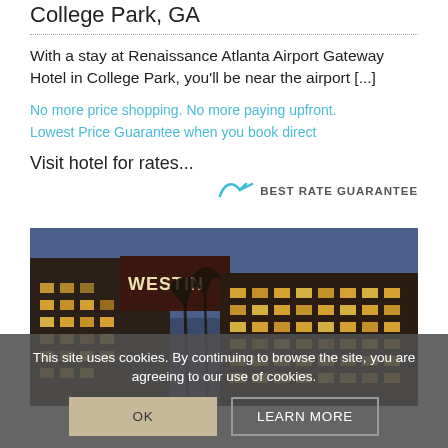College Park, GA
With a stay at Renaissance Atlanta Airport Gateway Hotel in College Park, you'll be near the airport [...]
No more price shopping. No more paying upfront.
Lowest Price Guarantee when you book direct
Visit hotel for rates...
[Figure (logo): Best Rate Guarantee logo with teal checkmark wing icon and text BEST RATE GUARANTEE]
[Figure (photo): Exterior photo of Westin hotel building at dusk/night with lit windows, bare trees, dark blue sky]
This site uses cookies. By continuing to browse the site, you are agreeing to our use of cookies.
OK   LEARN MORE